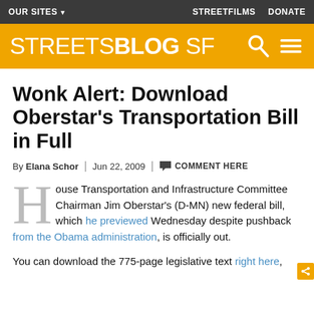OUR SITES ▾  STREETFILMS  DONATE
Wonk Alert: Download Oberstar's Transportation Bill in Full
By Elana Schor | Jun 22, 2009 | COMMENT HERE
House Transportation and Infrastructure Committee Chairman Jim Oberstar's (D-MN) new federal bill, which he previewed Wednesday despite pushback from the Obama administration, is officially out.
You can download the 775-page legislative text right here,